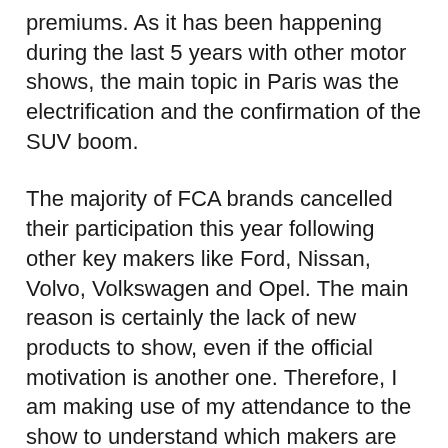premiums. As it has been happening during the last 5 years with other motor shows, the main topic in Paris was the electrification and the confirmation of the SUV boom.
The majority of FCA brands cancelled their participation this year following other key makers like Ford, Nissan, Volvo, Volkswagen and Opel. The main reason is certainly the lack of new products to show, even if the official motivation is another one. Therefore, I am making use of my attendance to the show to understand which makers are the real threats to Fiat, Alfa Romeo, Maserati and even Jeep.